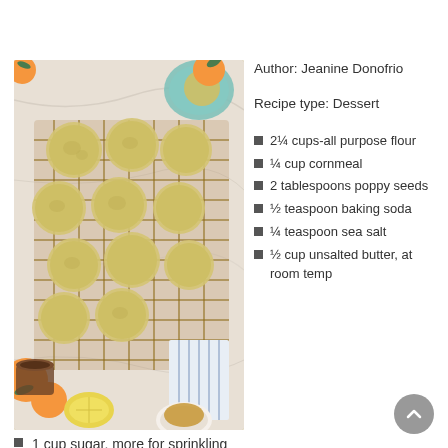[Figure (photo): Overhead photo of lemon cookies on a wire cooling rack, surrounded by oranges, lemons, and cups of tea on a marble surface]
Author: Jeanine Donofrio
Recipe type: Dessert
2¼ cups-all purpose flour
¼ cup cornmeal
2 tablespoons poppy seeds
½ teaspoon baking soda
¼ teaspoon sea salt
½ cup unsalted butter, at room temp
1 cup sugar, more for sprinkling
1½ teaspoons lemon zest
1½ teaspoons orange zest